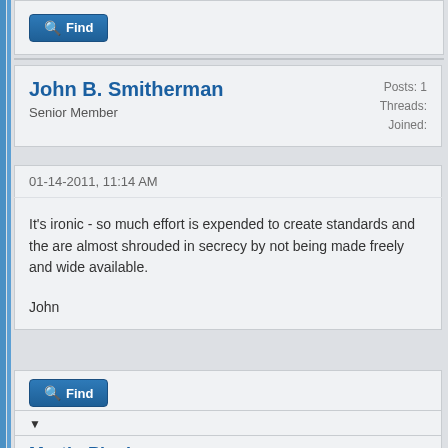[Figure (screenshot): Forum post interface with Find button at top]
John B. Smitherman
Senior Member
Posts: 1
Threads:
Joined:
01-14-2011, 11:14 AM
It's ironic - so much effort is expended to create standards and the are almost shrouded in secrecy by not being made freely and wide available.
John
Martin Pinckney
Posts: 1
Threads: